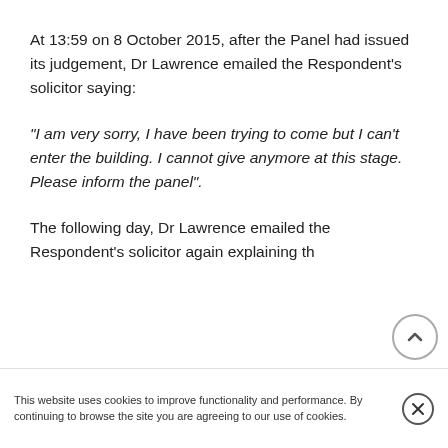At 13:59 on 8 October 2015, after the Panel had issued its judgement, Dr Lawrence emailed the Respondent's solicitor saying:
"I am very sorry, I have been trying to come but I can't enter the building. I cannot give anymore at this stage. Please inform the panel".
The following day, Dr Lawrence emailed the Respondent's solicitor again explaining th
This website uses cookies to improve functionality and performance. By continuing to browse the site you are agreeing to our use of cookies.